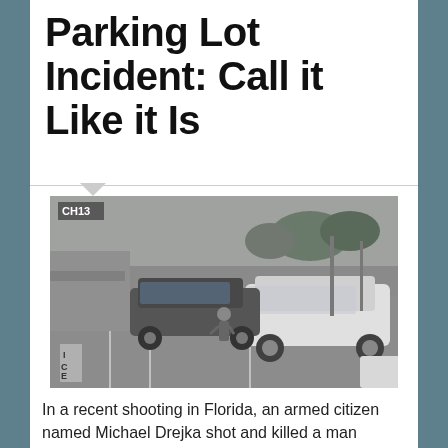Parking Lot Incident: Call it Like it Is
[Figure (photo): Black and white surveillance camera footage (CH13) of a parking lot showing several cars including a white sedan, with a person visible between vehicles, and parking lot markings visible.]
In a recent shooting in Florida, an armed citizen named Michael Drejka shot and killed a man named Markeis McGlockton following an